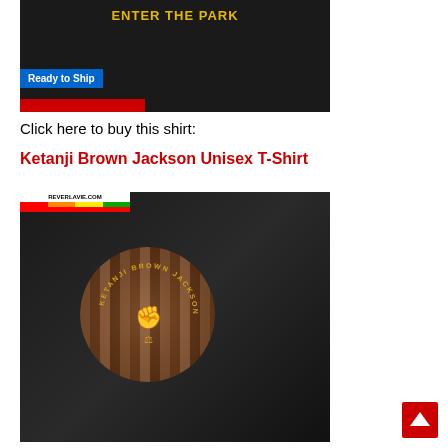[Figure (photo): Man on motorcycle wearing black t-shirt with 'Enter The Park' text, 'Ready to Ship' blue label overlay]
Click here to buy this shirt:
Ketanji Brown Jackson Unisex T-Shirt
[Figure (photo): Man wearing black Ketanji Brown Jackson t-shirt with circular graphic showing scales of justice and raised fist, REVERLAVIE.COM rainbow banner overlay]